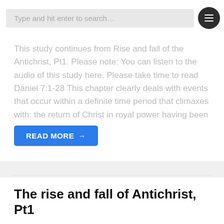Type and hit enter to search…
This study continues from Rise and fall of the Antichrist, Pt1. Please note: You can listen to the audio of this study here. Please take time to read Daniel 7:1-28 This chapter clearly deals with events that occur within a definite time period that climaxes with: the return of Christ in royal power having been
READ MORE →
The rise and fall of Antichrist, Pt1
Note: You can listen to an audio recording of this